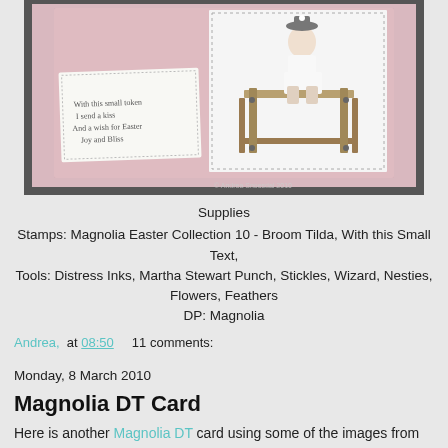[Figure (photo): Handmade craft card featuring a Magnolia Tilda figure sitting on a wooden bench/press, with a pink patterned background and a small handwritten sentiment tag. Watermark visible at bottom.]
Supplies
Stamps: Magnolia Easter Collection 10 - Broom Tilda, With this Small Text,
Tools: Distress Inks, Martha Stewart Punch, Stickles, Wizard, Nesties, Flowers, Feathers
DP: Magnolia
Andrea,  at 08:50     11 comments:
Monday, 8 March 2010
Magnolia DT Card
Here is another Magnolia DT card using some of the images from the new Easter Collection 10. I have used the gorgeous